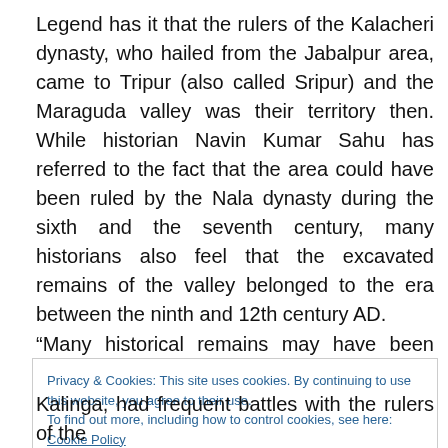Legend has it that the rulers of the Kalacheri dynasty, who hailed from the Jabalpur area, came to Tripur (also called Sripur) and the Maraguda valley was their territory then. While historian Navin Kumar Sahu has referred to the fact that the area could have been ruled by the Nala dynasty during the sixth and the seventh century, many historians also feel that the excavated remains of the valley belonged to the era between the ninth and 12th century AD.
“Many historical remains may have been submerged
Privacy & Cookies: This site uses cookies. By continuing to use this website, you agree to their use.
To find out more, including how to control cookies, see here: Cookie Policy
Close and accept
Kalinga, had frequent battles with the rulers of the